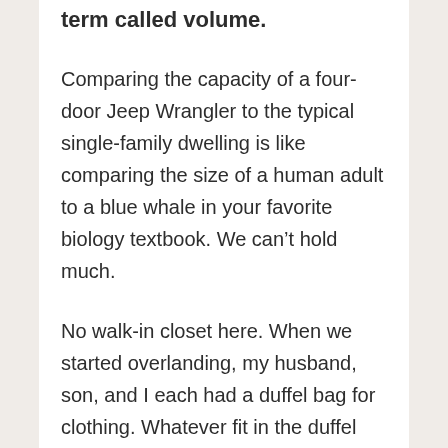term called volume.
Comparing the capacity of a four-door Jeep Wrangler to the typical single-family dwelling is like comparing the size of a human adult to a blue whale in your favorite biology textbook. We can’t hold much.
No walk-in closet here. When we started overlanding, my husband, son, and I each had a duffel bag for clothing. Whatever fit in the duffel